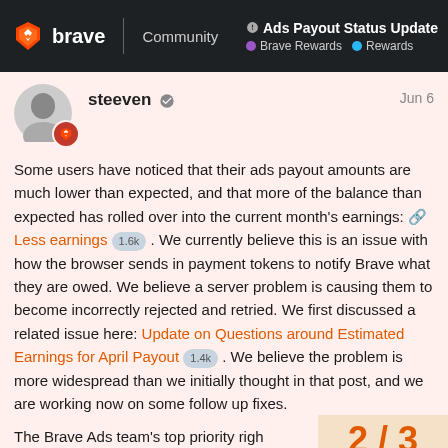Ads Payout Status Update | Brave Community | Brave Rewards • Rewards
steeven  Jun 6
Some users have noticed that their ads payout amounts are much lower than expected, and that more of the balance than expected has rolled over into the current month's earnings: 🔗 Less earnings 1.6k . We currently believe this is an issue with how the browser sends in payment tokens to notify Brave what they are owed. We believe a server problem is causing them to become incorrectly rejected and retried. We first discussed a related issue here: Update on Questions around Estimated Earnings for April Payout 1.4k . We believe the problem is more widespread than we initially thought in that post, and we are working now on some follow up fixes.
The Brave Ads team's top priority righ this issue so that we can get a prope
2 / 3